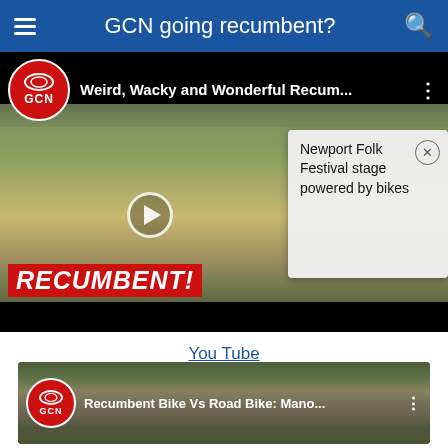GCN going recumbent?
[Figure (screenshot): GCN YouTube video thumbnail: Weird, Wacky and Wonderful Recum... with crowd of people with bikes outdoors, RECUMBENT! red banner, and Newport Folk Festival stage powered by bikes popup notification]
Newport Folk Festival stage powered by bikes
You Tube
[Figure (screenshot): GCN YouTube video thumbnail: Recumbent Bike Vs Road Bike: Mano... showing cyclists on a road/track]